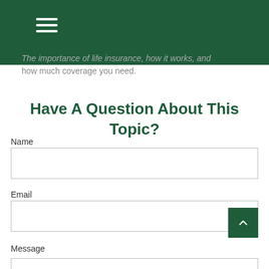The importance of life insurance, how it works, and how much coverage you need.
Have A Question About This Topic?
Name
Email
Message